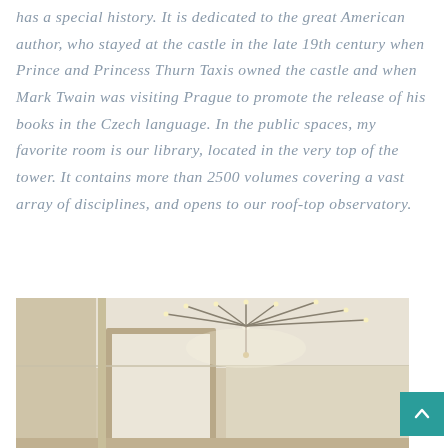has a special history. It is dedicated to the great American author, who stayed at the castle in the late 19th century when Prince and Princess Thurn Taxis owned the castle and when Mark Twain was visiting Prague to promote the release of his books in the Czech language. In the public spaces, my favorite room is our library, located in the very top of the tower. It contains more than 2500 volumes covering a vast array of disciplines, and opens to our roof-top observatory.
[Figure (photo): Interior photograph of a room showing a ceiling with an ornate chandelier/light fixture with radiating lines, cream-colored walls, and a doorway or archway visible.]